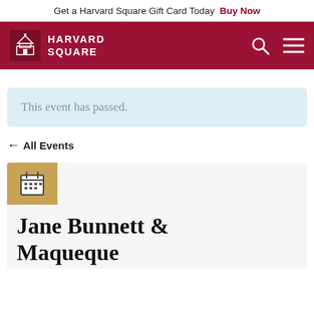Get a Harvard Square Gift Card Today  Buy Now
[Figure (logo): Harvard Square logo with building icon and text HARVARD SQUARE on dark red navigation bar with search and menu icons]
This event has passed.
← All Events
[Figure (other): Calendar icon in a golden/tan square]
Jane Bunnett & Maqueque